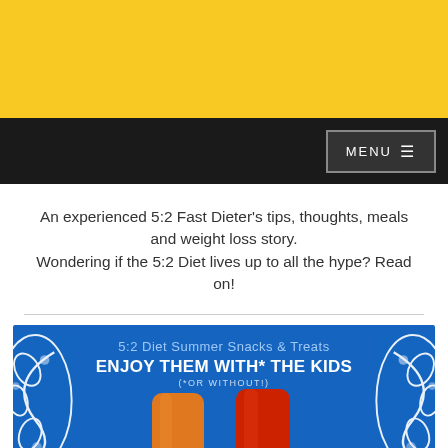[Figure (other): Yellow banner header background]
MENU ☰
An experienced 5:2 Fast Dieter's tips, thoughts, meals and weight loss story. Wondering if the 5:2 Diet lives up to all the hype? Read on!
[Figure (infographic): 5:2 Diet Summer Snacks & Treats - ENJOY THEM WITH* THE KIDS (*OR WITHOUT!) - Blue background with decorative white swirl patterns on sides and two popsicles (orange and red) at bottom.]